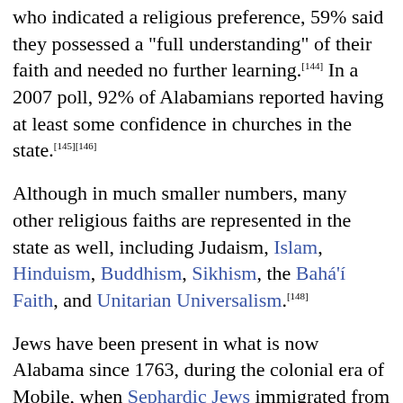who indicated a religious preference, 59% said they possessed a "full understanding" of their faith and needed no further learning.[144] In a 2007 poll, 92% of Alabamians reported having at least some confidence in churches in the state.[145][146]
Although in much smaller numbers, many other religious faiths are represented in the state as well, including Judaism, Islam, Hinduism, Buddhism, Sikhism, the Bahá'í Faith, and Unitarian Universalism.[148]
Jews have been present in what is now Alabama since 1763, during the colonial era of Mobile, when Sephardic Jews immigrated from London.[147] The oldest Jewish congregation in the state is Congregation Sha'arai Shomayim in Mobile. It was formally recognized by the state legislature on January 25, 1844.[148] It is also located in the...